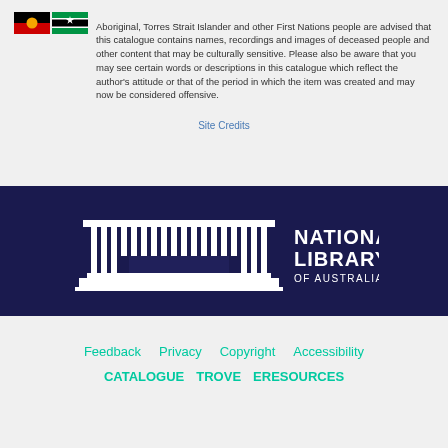Aboriginal, Torres Strait Islander and other First Nations people are advised that this catalogue contains names, recordings and images of deceased people and other content that may be culturally sensitive. Please also be aware that you may see certain words or descriptions in this catalogue which reflect the author's attitude or that of the period in which the item was created and may now be considered offensive.
Site Credits
[Figure (logo): National Library of Australia logo — white building illustration with columns and the text NATIONAL LIBRARY OF AUSTRALIA on a dark navy background]
Feedback  Privacy  Copyright  Accessibility  CATALOGUE  TROVE  ERESOURCES